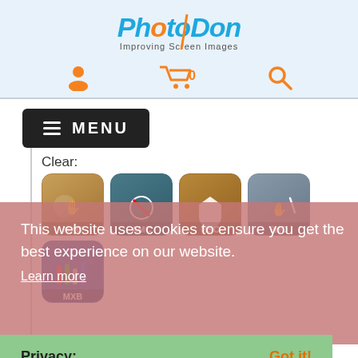[Figure (logo): PhotoDon logo with text 'Improving Screen Images' in blue and orange]
[Figure (infographic): Navigation icons: user account, shopping cart with 0, search]
[Figure (infographic): Black MENU button with hamburger icon]
Clear:
[Figure (infographic): Product icon MXO - golden brown with hand/cleaning symbol]
[Figure (infographic): Product icon AMC - teal with no-germ symbol]
[Figure (infographic): Product icon HSC - golden brown with shield symbol]
[Figure (infographic): Product icon 9HO - grey/teal with hand and arrow symbol]
[Figure (infographic): Product icon MXB - blue with colored vertical bars symbol]
This website uses cookies to ensure you get the best experience on our website.
Learn more
Privacy:
Got it!
[Figure (infographic): Product icon P2S 2-WAY-S - orange/red with eye symbol]
[Figure (infographic): Product icon P4S 4-WAY-S - red with eye symbol]